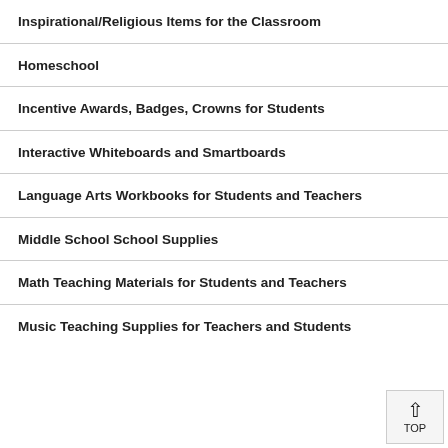Inspirational/Religious Items for the Classroom
Homeschool
Incentive Awards, Badges, Crowns for Students
Interactive Whiteboards and Smartboards
Language Arts Workbooks for Students and Teachers
Middle School School Supplies
Math Teaching Materials for Students and Teachers
Music Teaching Supplies for Teachers and Students